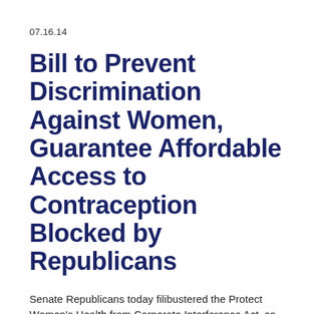07.16.14
Bill to Prevent Discrimination Against Women, Guarantee Affordable Access to Contraception Blocked by Republicans
Senate Republicans today filibustered the Protect Women's Health from Corporate Interference Act, co-sponsored by U.S. Senator Debbie Stabenow, which would protect health care benefits guaranteed by law and prevent employers from interfering in personal health care decisions. The legislation came in response to the U.S. Supreme Court's Burwell v. Hobby